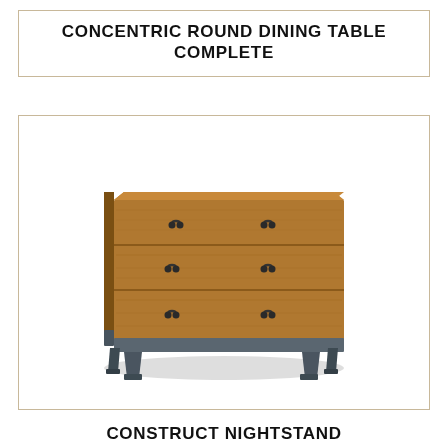CONCENTRIC ROUND DINING TABLE COMPLETE
[Figure (photo): A wooden three-drawer nightstand with dark metal legs and small pull handles on each drawer, shown in a walnut finish.]
CONSTRUCT NIGHTSTAND